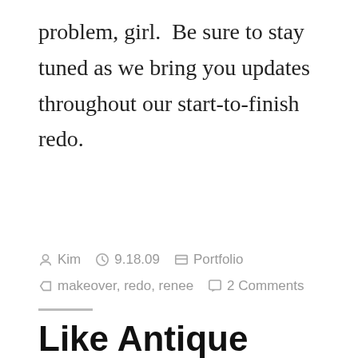problem, girl.  Be sure to stay tuned as we bring you updates throughout our start-to-finish redo.
Kim  9.18.09  Portfolio  makeover, redo, renee  2 Comments
Like Antique Malls? Get